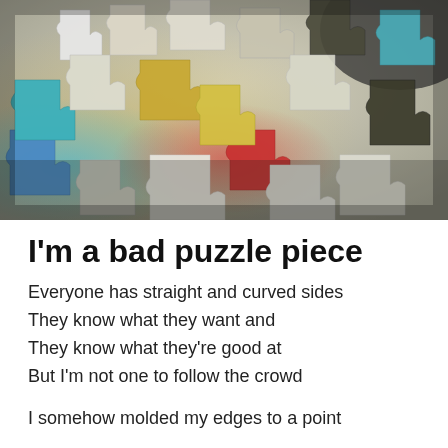[Figure (photo): Overhead close-up photo of scattered colorful jigsaw puzzle pieces spread out on a surface, showing white, blue, teal, yellow, gold, red, and dark pieces in disarray.]
I'm a bad puzzle piece
Everyone has straight and curved sides
They know what they want and
They know what they're good at
But I'm not one to follow the crowd

I somehow molded my edges to a point